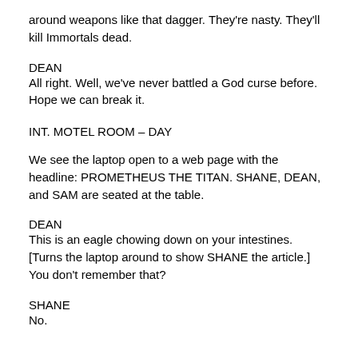around weapons like that dagger. They're nasty. They'll kill Immortals dead.
DEAN
All right. Well, we've never battled a God curse before. Hope we can break it.
INT. MOTEL ROOM – DAY
We see the laptop open to a web page with the headline: PROMETHEUS THE TITAN. SHANE, DEAN, and SAM are seated at the table.
DEAN
This is an eagle chowing down on your intestines. [Turns the laptop around to show SHANE the article.] You don't remember that?
SHANE
No.